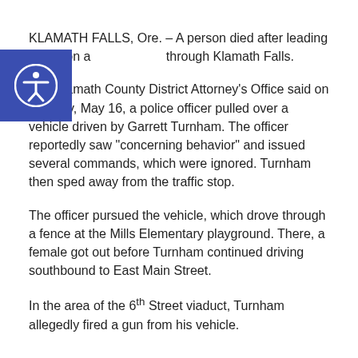KLAMATH FALLS, Ore. – A person died after leading police on a chase through Klamath Falls.
The Klamath County District Attorney’s Office said on Monday, May 16, a police officer pulled over a vehicle driven by Garrett Turnham. The officer reportedly saw “concerning behavior” and issued several commands, which were ignored. Turnham then sped away from the traffic stop.
The officer pursued the vehicle, which drove through a fence at the Mills Elementary playground. There, a female got out before Turnham continued driving southbound to East Main Street.
In the area of the 6th Street viaduct, Turnham allegedly fired a gun from his vehicle.